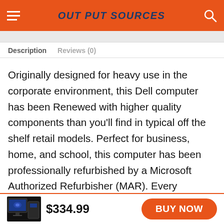OUT PUT SOURCES
Description   Reviews (0)
Originally designed for heavy use in the corporate environment, this Dell computer has been Renewed with higher quality components than you'll find in typical off the shelf retail models. Perfect for business, home, and school, this computer has been professionally refurbished by a Microsoft Authorized Refurbisher (MAR). Every component is tested for full functionality to ensure years of ongoing performance and reliability. Exterior cosmetics are restored to a like-new condition with little to no
$334.99
BUY NOW